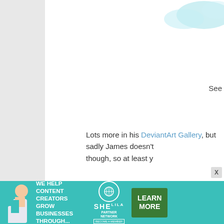[Figure (illustration): Cloud/sky decoration at top right corner of page]
See
Lots more in his DeviantArt Gallery, but sadly James doesn't though, so at least y
For you parents, here's something fun from the Epbot P
[Figure (photo): Book cover showing 'monst' (monsters) with subtitle 'an illustrated tongue-twi' and cartoon monster characters with pink bows, on white background with black border]
[Figure (advertisement): SHE Partner Network advertisement banner: We Help Content Creators Grow Businesses Through... with Learn More button]